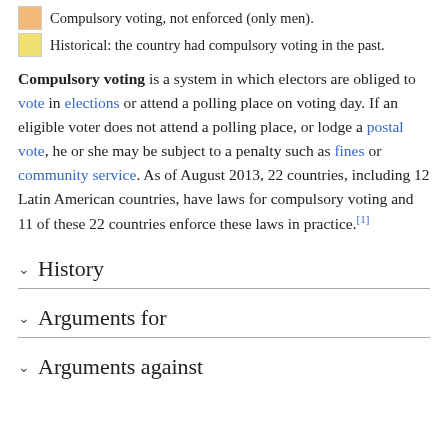Compulsory voting, not enforced (only men).
Historical: the country had compulsory voting in the past.
Compulsory voting is a system in which electors are obliged to vote in elections or attend a polling place on voting day. If an eligible voter does not attend a polling place, or lodge a postal vote, he or she may be subject to a penalty such as fines or community service. As of August 2013, 22 countries, including 12 Latin American countries, have laws for compulsory voting and 11 of these 22 countries enforce these laws in practice.[1]
History
Arguments for
Arguments against